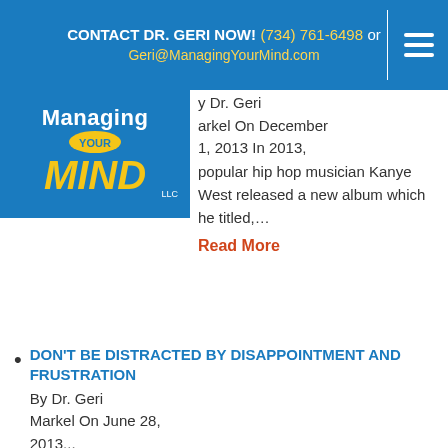CONTACT DR. GERI NOW! (734) 761-6498 or Geri@ManagingYourMind.com
[Figure (logo): Managing Your Mind LLC logo with blue background, yellow MIND text]
By Dr. Geri Markel On December 1, 2013 In 2013, popular hip hop musician Kanye West released a new album which he titled,…
Read More
DON'T BE DISTRACTED BY DISAPPOINTMENT AND FRUSTRATION
By Dr. Geri Markel On June 28, 2013...